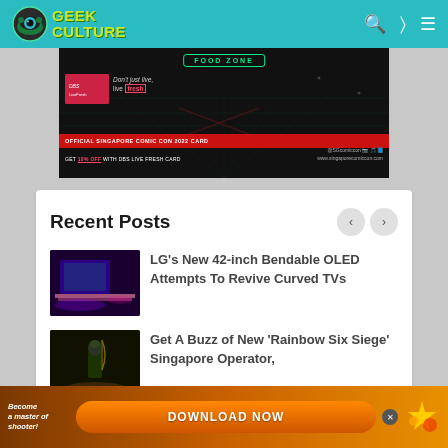Geek Culture
[Figure (photo): Singapore Comic Con DBS Live Fresh Card promotional banner ad with FOOD ZONE text on dark background with green grid]
Recent Posts
[Figure (photo): Gaming setup with purple lighting and curved monitor]
LG's New 42-inch Bendable OLED Attempts To Revive Curved TVs
[Figure (photo): Rainbow Six Siege Singapore operator character with bow in dark environment]
Get A Buzz of New 'Rainbow Six Siege' Singapore Operator,
[Figure (photo): Download Now mobile game advertisement banner with orange background and Become a master of shooter text]